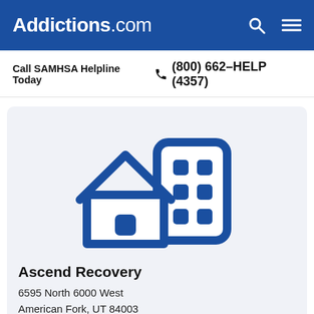Addictions.com
Call SAMHSA Helpline Today  (800) 662-HELP (4357)
[Figure (illustration): Blue icon of a house and a building/clinic on a light gray background representing a recovery facility]
Ascend Recovery
6595 North 6000 West
American Fork, UT 84003